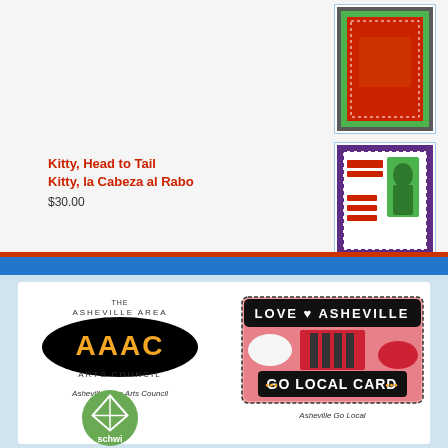[Figure (photo): Thumbnail image of a colorful stamp-like item on green/red background]
[Figure (photo): Thumbnail image of Kitty Head to Tail bilingual stamp on purple background with green cat]
Kitty, Head to Tail
Kitty, la Cabeza al Rabo
$30.00
[Figure (logo): Asheville Area Arts Council (AAAC) logo - black oval with orange letters AAAC and text Arts Council]
Asheville Area Arts Council
[Figure (logo): Asheville Go Local card logo - pink/red illustrated card with Love Asheville text and GO LOCAL CARD text]
Asheville Go Local
[Figure (logo): Schwi logo - green circle with kite/diamond geometric design and text schwi (partially visible)]